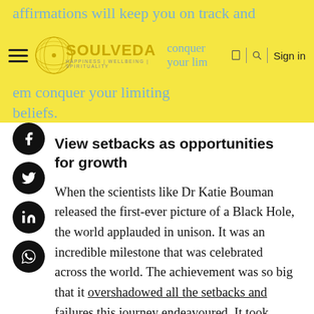affirmations will keep you on track and empower you to conquer your limiting beliefs.
[Figure (logo): Soulveda logo with tagline HAPPINESS | WELLBEING | SPIRITUALITY]
View setbacks as opportunities for growth
When the scientists like Dr Katie Bouman released the first-ever picture of a Black Hole, the world applauded in unison. It was an incredible milestone that was celebrated across the world. The achievement was so big that it overshadowed all the setbacks and failures this journey endeavoured. It took them two long decades to capture the blurry image of the Imagine the odds. It gives us